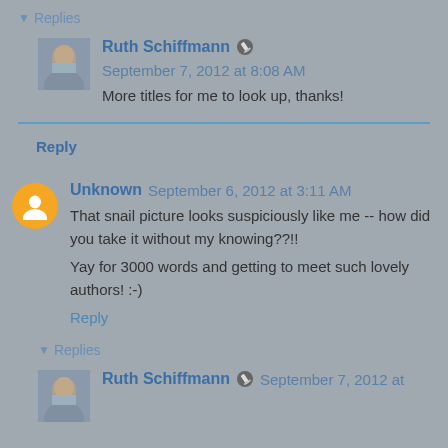▾ Replies
Ruth Schiffmann ✎ September 7, 2012 at 8:08 AM
More titles for me to look up, thanks!
Reply
Unknown September 6, 2012 at 3:11 AM
That snail picture looks suspiciously like me -- how did you take it without my knowing??!!
Yay for 3000 words and getting to meet such lovely authors! :-)
Reply
▾ Replies
Ruth Schiffmann ✎ September 7, 2012 at